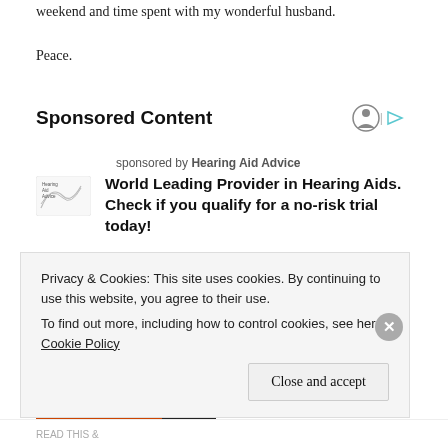weekend and time spent with my wonderful husband.
Peace.
Sponsored Content
sponsored by Hearing Aid Advice
World Leading Provider in Hearing Aids. Check if you qualify for a no-risk trial today!
[Figure (photo): Two photos: close-up of a hand holding a hearing aid (warm brown tones), and a side profile of an elderly person's ear (grey hair).]
Privacy & Cookies: This site uses cookies. By continuing to use this website, you agree to their use.
To find out more, including how to control cookies, see here: Cookie Policy
Close and accept